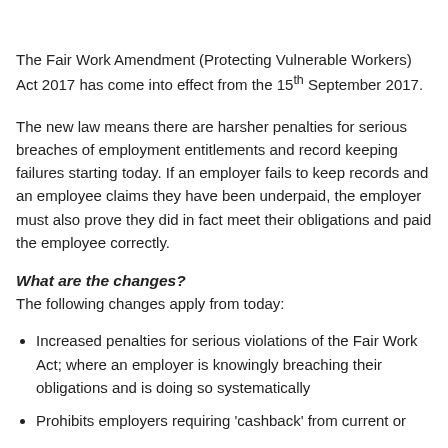The Fair Work Amendment (Protecting Vulnerable Workers) Act 2017 has come into effect from the 15th September 2017.
The new law means there are harsher penalties for serious breaches of employment entitlements and record keeping failures starting today. If an employer fails to keep records and an employee claims they have been underpaid, the employer must also prove they did in fact meet their obligations and paid the employee correctly.
What are the changes?
The following changes apply from today:
Increased penalties for serious violations of the Fair Work Act; where an employer is knowingly breaching their obligations and is doing so systematically
Prohibits employers requiring 'cashback' from current or